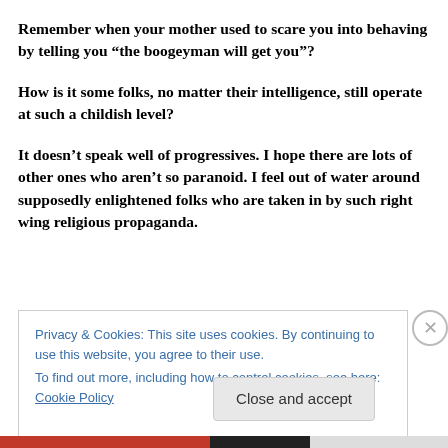Remember when your mother used to scare you into behaving by telling you “the boogeyman will get you”?
How is it some folks, no matter their intelligence, still operate at such a childish level?
It doesn’t speak well of progressives. I hope there are lots of other ones who aren’t so paranoid. I feel out of water around supposedly enlightened folks who are taken in by such right wing religious propaganda.
Privacy & Cookies: This site uses cookies. By continuing to use this website, you agree to their use.
To find out more, including how to control cookies, see here: Cookie Policy